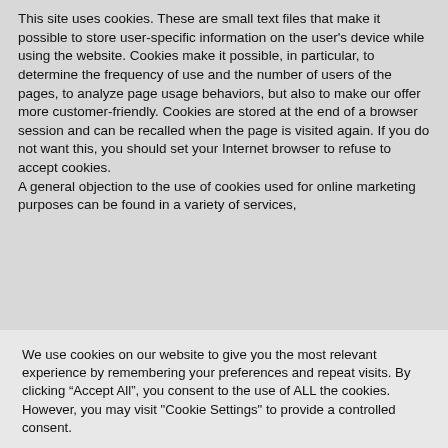This site uses cookies. These are small text files that make it possible to store user-specific information on the user's device while using the website. Cookies make it possible, in particular, to determine the frequency of use and the number of users of the pages, to analyze page usage behaviors, but also to make our offer more customer-friendly. Cookies are stored at the end of a browser session and can be recalled when the page is visited again. If you do not want this, you should set your Internet browser to refuse to accept cookies.
A general objection to the use of cookies used for online marketing purposes can be found in a variety of services,
We use cookies on our website to give you the most relevant experience by remembering your preferences and repeat visits. By clicking "Accept All", you consent to the use of ALL the cookies. However, you may visit "Cookie Settings" to provide a controlled consent.